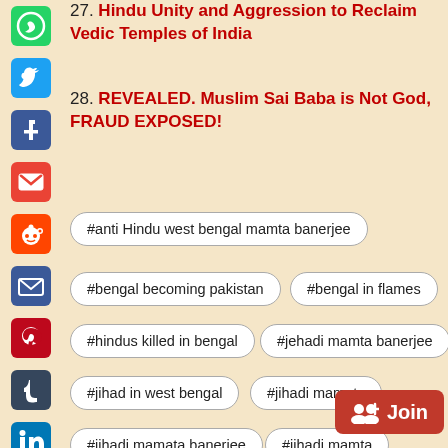27. Hindu Unity and Aggression to Reclaim Vedic Temples of India
28. REVEALED. Muslim Sai Baba is Not God, FRAUD EXPOSED!
#anti Hindu west bengal mamta banerjee
#bengal becoming pakistan
#bengal in flames
#hindus killed in bengal
#jehadi mamta banerjee
#jihad in west bengal
#jihadi mamata
#jihadi mamata banerjee
#jihadi mamta
#mamata banerjee anti-Hindu
#mamata banerjee background
#mamata banerjee bangladesh